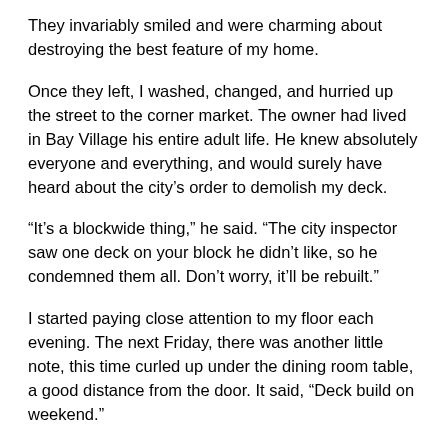They invariably smiled and were charming about destroying the best feature of my home.
Once they left, I washed, changed, and hurried up the street to the corner market. The owner had lived in Bay Village his entire adult life. He knew absolutely everyone and everything, and would surely have heard about the city's order to demolish my deck.
“It’s a blockwide thing,” he said. “The city inspector saw one deck on your block he didn’t like, so he condemned them all. Don’t worry, it’ll be rebuilt.”
I started paying close attention to my floor each evening. The next Friday, there was another little note, this time curled up under the dining room table, a good distance from the door. It said, “Deck build on weekend.”
I set the alarm; this time I was ready. At 7 a.m., there was a loud knock. It was the landlord, his wife, two young Chinese men in work clothes, and an older Chinese man wearing horn-rimmed glasses, a suit, and a trench coat.
They smiled. I smiled back. The two laborers hauled construction